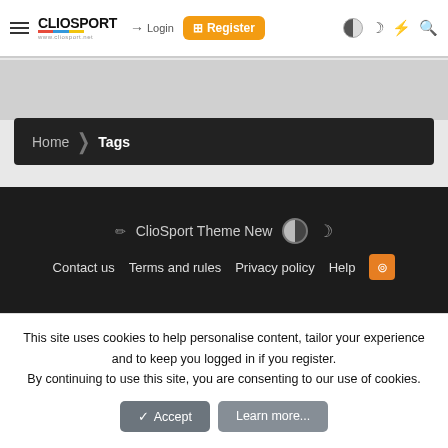ClioSport.net navigation bar with Login, Register, and icon buttons
Home > Tags
ClioSport Theme New
Contact us  Terms and rules  Privacy policy  Help
This site uses cookies to help personalise content, tailor your experience and to keep you logged in if you register. By continuing to use this site, you are consenting to our use of cookies.